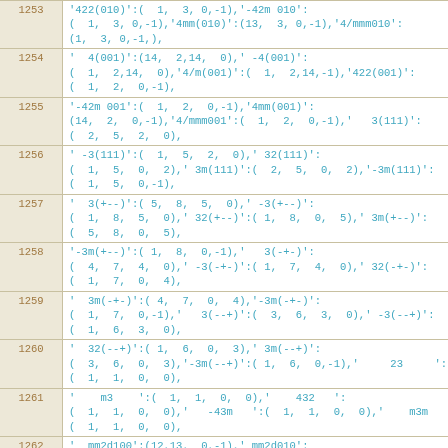| Line | Code |
| --- | --- |
| 1253 | '422(010)':(  1,  3, 0,-1),'-42m 010':
(  1,  3, 0,-1),'4mm(010)':(13,  3, 0,-1),'4/mmm010':
(1,  3, 0,-1,), |
| 1254 | '  4(001)':(14,  2,14,  0),' -4(001)':
(  1,  2,14,  0),'4/m(001)':(  1,  2,14,-1),'422(001)':
(  1,  2,  0,-1), |
| 1255 | '-42m 001':(  1,  2,  0,-1),'4mm(001)':
(14,  2,  0,-1),'4/mmm001':(  1,  2,  0,-1),'   3(111)':
(  2,  5,  2,  0), |
| 1256 | ' -3(111)':(  1,  5,  2,  0),' 32(111)':
(  1,  5,  0,  2),' 3m(111)':(  2,  5,  0,  2),'-3m(111)':
(  1,  5,  0,-1), |
| 1257 | '  3(+--)':(  5,  8,  5,  0),' -3(+--)'
(  1,  8,  5,  0),' 32(+--)':( 1,  8,  0,  5),' 3m(+--)'
(  5,  8,  0,  5), |
| 1258 | '-3m(+--)':(  1,  8,  0,-1),'   3(-+-)'
(  4,  7,  4,  0),' -3(-+-)':( 1,  7,  4,  0),' 32(-+-)'
(  1,  7,  0,  4), |
| 1259 | '  3m(-+-)':( 4,  7,  0,  4),'-3m(-+-)'
(  1,  7,  0,-1),'   3(--+)':(  3,  6,  3,  0),' -3(--+)'
(  1,  6,  3,  0), |
| 1260 | '  32(--+)':( 1,  6,  0,  3),' 3m(--+)'
(  3,  6,  0,  3),'-3m(--+)':( 1,  6,  0,-1),'     23     '
(  1,  1,  0,  0), |
| 1261 | '    m3    ':(  1,  1,  0,  0),'    432   '
(  1,  1,  0,  0),'   -43m   ':(  1,  1,  0,  0),'    m3m   '
(  1,  1,  0,  0), |
| 1262 | '  mm2d100':(12,13,  0,-1),' mm2d010'
(13,12,  0,-1),' mm2d001':(14,11,  0,-1),'-4m2 100'
(  1,  4,  0,-1), |
| 1263 | '-4m2 010':(  1,  3,  0,-1),'-4m2 001'
(  1,  2,  0,-1),'  6/mmm  ':(  1,  9,  0,-1),'-6m2 100'
(  1,  9,  0,-1), |
| 1264 | '-6m2 120':(  1,  9,  0,-1),'    6mm   '
(14,  9,  0,-1),'    622   ':(  1,  9,  0,-1),'  6/m   '
(  1,  9,14,-1), |